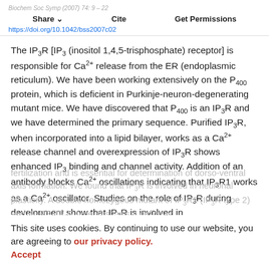Biochem Soc Symp (2007) 74: 9–22
Share   Cite   Get Permissions
https://doi.org/10.1042/bss2007c02
The IP3R [IP3 (inositol 1,4,5-trisphosphate) receptor] is responsible for Ca2+ release from the ER (endoplasmic reticulum). We have been working extensively on the P400 protein, which is deficient in Purkinje-neuron-degenerating mutant mice. We have discovered that P400 is an IP3R and we have determined the primary sequence. Purified IP3R, when incorporated into a lipid bilayer, works as a Ca2+ release channel and overexpression of IP3R shows enhanced IP3 binding and channel activity. Addition of an antibody blocks Ca2+ oscillations indicating that IP3R1 works as a Ca2+ oscillator. Studies on the role of IP3R during development show that IP3R is involved in
fertilization and is essential for determination of dorso-ventral axis formation. We found that IP3R is involved in neuronal plasticity. A double homozygous mutant of IP3R2 (IP3R type 2) and IP3R3 (IP3R type 3) shows a deficit of
This site uses cookies. By continuing to use our website, you are agreeing to our privacy policy. Accept